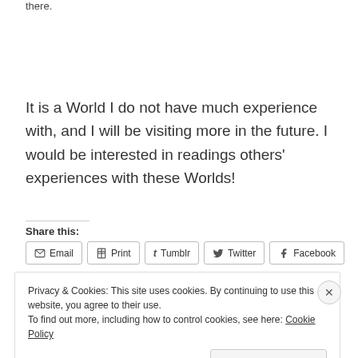there.
It is a World I do not have much experience with, and I will be visiting more in the future. I would be interested in readings others' experiences with these Worlds!
Share this:
Email  Print  Tumblr  Twitter  Facebook
Privacy & Cookies: This site uses cookies. By continuing to use this website, you agree to their use.
To find out more, including how to control cookies, see here: Cookie Policy
Close and accept